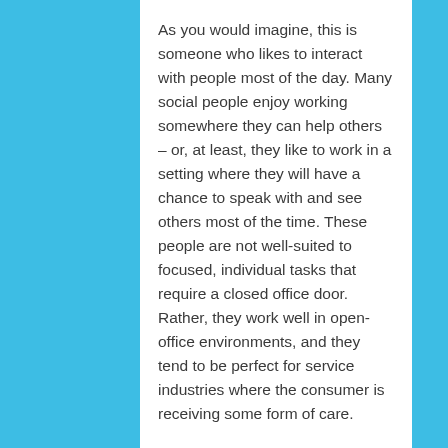As you would imagine, this is someone who likes to interact with people most of the day. Many social people enjoy working somewhere they can help others – or, at least, they like to work in a setting where they will have a chance to speak with and see others most of the time. These people are not well-suited to focused, individual tasks that require a closed office door. Rather, they work well in open-office environments, and they tend to be perfect for service industries where the consumer is receiving some form of care.
Enterprising